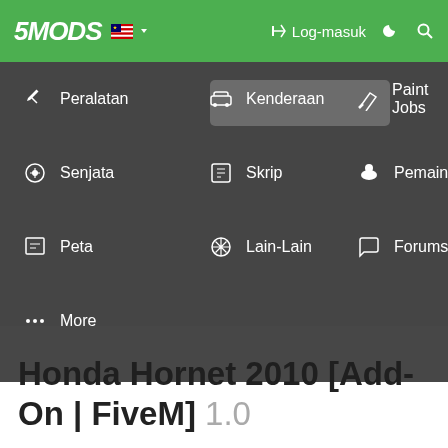[Figure (screenshot): 5MODS website navigation bar with green header showing logo, Malaysian flag, Log-masuk (login) button, and dropdown menu with items: Peralatan, Kenderaan (highlighted), Paint Jobs, Senjata, Skrip, Pemain, Peta, Lain-Lain, Forums, More]
Honda Hornet 2010 [Add-On | FiveM] 1.0